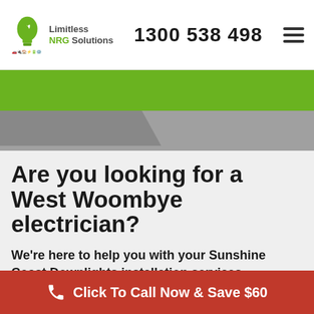Limitless NRG Solutions — 1300 538 498
[Figure (illustration): Green banner and gray tab decorative area below header]
Are you looking for a West Woombye electrician?
We're here to help you with your Sunshine Coast Downlights installation services.
At Limitless NRG Solutions, we take great pride in being one of the most trusted electrical contractors on the
Click To Call Now & Save $60